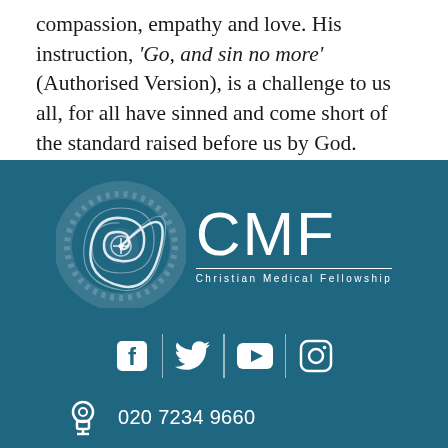compassion, empathy and love. His instruction, ‘Go, and sin no more’ (Authorised Version), is a challenge to us all, for all have sinned and come short of the standard raised before us by God.
[Figure (logo): CMF (Christian Medical Fellowship) logo with white spiral/nautilus shell graphic on teal background, with CMF in large letters and 'Christian Medical Fellowship' subtitle]
[Figure (infographic): Social media icons row: Facebook, Twitter, YouTube, Instagram, separated by vertical lines, white on teal background]
020 7234 9660
admin@cmf.org.uk